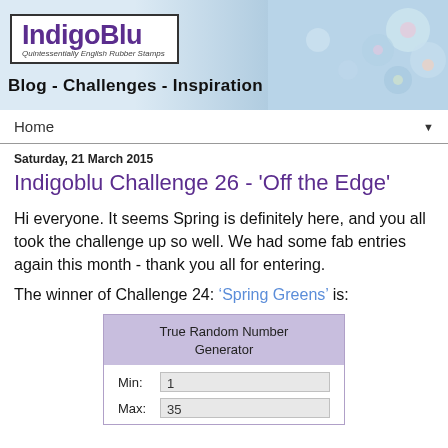[Figure (screenshot): IndigoBlu blog banner with logo, tagline 'Blog - Challenges - Inspiration', and decorative floral image on the right]
Home ▼
Saturday, 21 March 2015
Indigoblu Challenge 26 - 'Off the Edge'
Hi everyone. It seems Spring is definitely here, and you all took the challenge up so well. We had some fab entries again this month - thank you all for entering.
The winner of Challenge 24: 'Spring Greens' is:
[Figure (screenshot): True Random Number Generator widget showing Min: 1 and Max: 35]